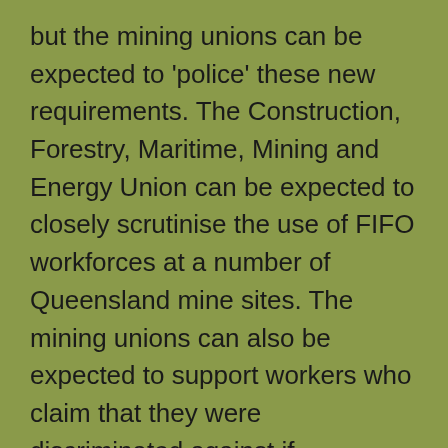but the mining unions can be expected to 'police' these new requirements. The Construction, Forestry, Maritime, Mining and Energy Union can be expected to closely scrutinise the use of FIFO workforces at a number of Queensland mine sites. The mining unions can also be expected to support workers who claim that they were discriminated against if unsuccessful in securing a position at a mine.
Accordingly, industry operators affected by this change will need to consider the best approach for fatigue management for shift workers driving from regional communities, an issue which was the subject of Coronial